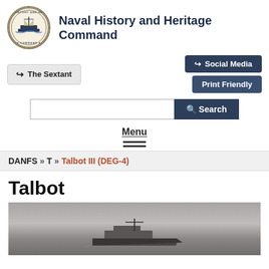[Figure (logo): Naval History and Heritage Command circular seal/logo with ship illustration]
Naval History and Heritage Command
The Sextant
Social Media
Print Friendly
Search
Menu
DANFS » T » Talbot III (DEG-4)
Talbot
[Figure (photo): Black and white photograph of a naval ship at sea]